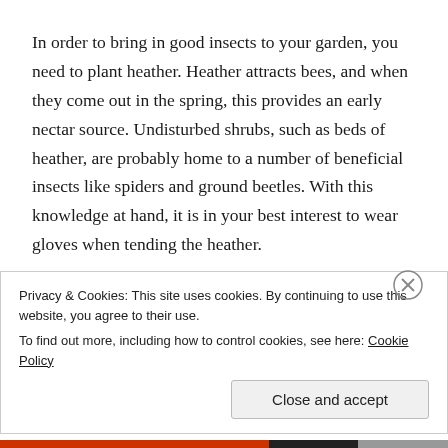In order to bring in good insects to your garden, you need to plant heather. Heather attracts bees, and when they come out in the spring, this provides an early nectar source. Undisturbed shrubs, such as beds of heather, are probably home to a number of beneficial insects like spiders and ground beetles. With this knowledge at hand, it is in your best interest to wear gloves when tending the heather.
Posted in Uncategorized   Leave a comment
Tagged coffee grounds,
Privacy & Cookies: This site uses cookies. By continuing to use this website, you agree to their use.
To find out more, including how to control cookies, see here: Cookie Policy
Close and accept